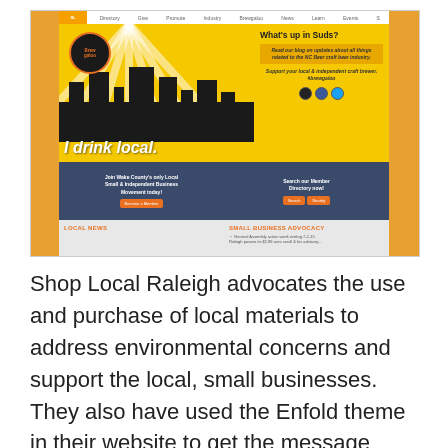[Figure (screenshot): Screenshot of the Shop Local Raleigh / Brewgaloo website showing a yellow banner with 'I drink local.' city silhouette, 'What's up in Suds?' panel, member directory search, LOCAL NEWS and SMALL BUSINESS ADVOCACY sections]
Shop Local Raleigh advocates the use and purchase of local materials to address environmental concerns and support the local, small businesses. They also have used the Enfold theme in their website to get the message across effectively.